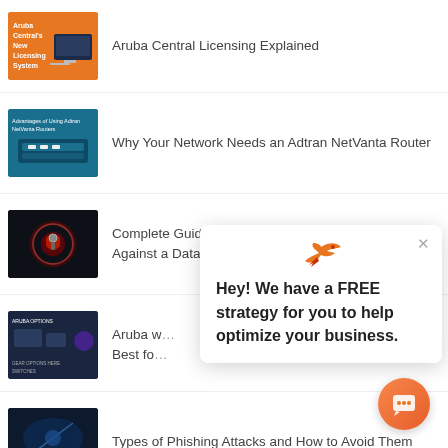Aruba Central Licensing Explained
Why Your Network Needs an Adtran NetVanta Router
Complete Guide to Protecting Your Organization Against a Data Breach
Aruba w… Best fo…
[Figure (other): Chat popup overlay with bird logo and text: Hey! We have a FREE strategy for you to help optimize your business. With close button.]
Types of Phishing Attacks and How to Avoid Them
[Figure (other): Orange gradient circular chat button in bottom right corner]